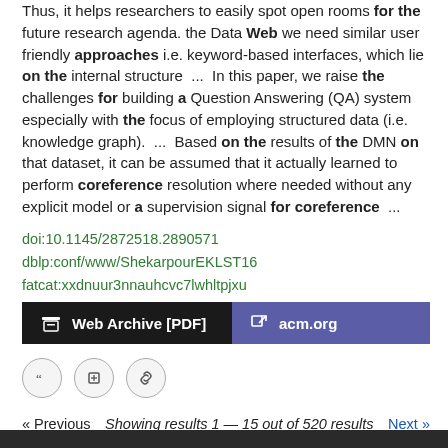Thus, it helps researchers to easily spot open rooms for the future research agenda. the Data Web we need similar user friendly approaches i.e. keyword-based interfaces, which lie on the internal structure  ...  In this paper, we raise the challenges for building a Question Answering (QA) system especially with the focus of employing structured data (i.e. knowledge graph).  ...  Based on the results of the DMN on that dataset, it can be assumed that it actually learned to perform coreference resolution where needed without any explicit model or a supervision signal for coreference ...
doi:10.1145/2872518.2890571
dblp:conf/www/ShekarpourEKLST16
fatcat:xxdnuur3nnauhcvc7lwhltpjxu
[Figure (other): Two buttons: 'Web Archive [PDF]' (dark background with archive icon) and 'acm.org' (purple background with external link icon)]
[Figure (other): Three circular icon buttons: quote, edit, and link]
« Previous   Showing results 1 — 15 out of 520 results   Next »